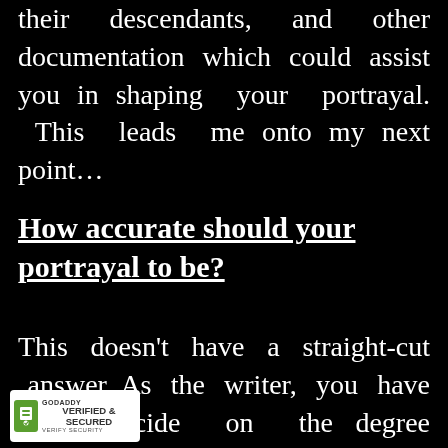their descendants, and other documentation which could assist you in shaping your portrayal. This leads me onto my next point…
How accurate should your portrayal to be?
This doesn't have a straight-cut answer. As the writer, you have to decide on the degree of historical accuracy you want to